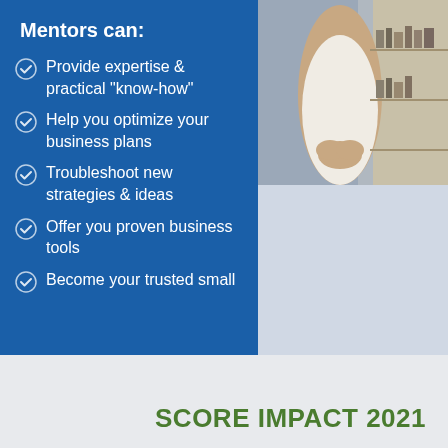[Figure (photo): Photo of a person with hands clasped, seated, torso visible, light background with shelving]
Mentors can:
Provide expertise & practical "know-how"
Help you optimize your business plans
Troubleshoot new strategies & ideas
Offer you proven business tools
Become your trusted small
SCORE IMPACT 2021